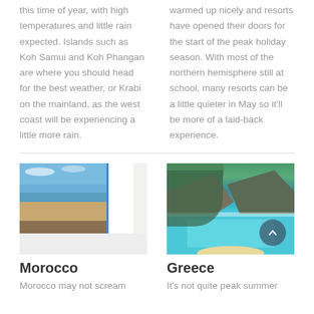this time of year, with high temperatures and little rain expected. Islands such as Koh Samui and Koh Phangan are where you should head for the best weather, or Krabi on the mainland, as the west coast will be experiencing a little more rain.
warmed up nicely and resorts have opened their doors for the start of the peak holiday season. With most of the northern hemisphere still at school, many resorts can be a little quieter in May so it'll be more of a laid-back experience.
[Figure (photo): Beach scene in Morocco with white building and blue accents, sandy beach, ocean waves, and blue sky]
Morocco
Morocco may not scream
[Figure (photo): Aerial view of Greece Navagio beach cove with turquoise water, rocky cliffs, and green hillsides]
Greece
It's not quite peak summer